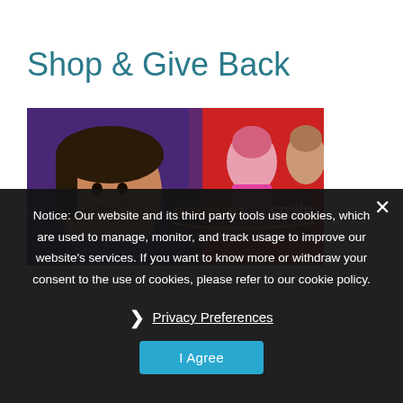Shop & Give Back
[Figure (photo): Amazon Smile banner with children in background. Text reads 'amazonsmile' with tagline 'You shop. Amazon gives.']
Notice: Our website and its third party tools use cookies, which are used to manage, monitor, and track usage to improve our website's services. If you want to know more or withdraw your consent to the use of cookies, please refer to our cookie policy.
❯ Privacy Preferences
I Agree